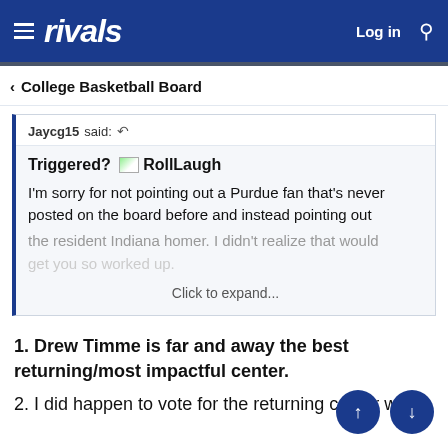rivals  Log in
< College Basketball Board
Jaycg15 said: ↩
Triggered? [RollLaugh emoji]
I'm sorry for not pointing out a Purdue fan that's never posted on the board before and instead pointing out the resident Indiana homer. I didn't realize that would get you so worked up.
Click to expand...
1. Drew Timme is far and away the best returning/most impactful center.
2. I did happen to vote for the returning center who